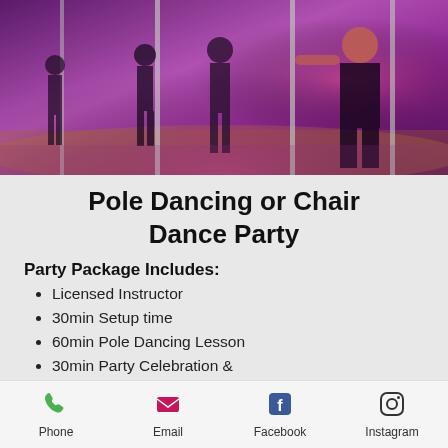[Figure (photo): Dance studio photo with multiple people around poles under purple/pink lighting, wooden floor]
Pole Dancing or Chair Dance Party
Party Package Includes:
Licensed Instructor
30min Setup time
60min Pole Dancing Lesson
30min Party Celebration & pictures
Plates, Cups, Utensils
Phone  Email  Facebook  Instagram